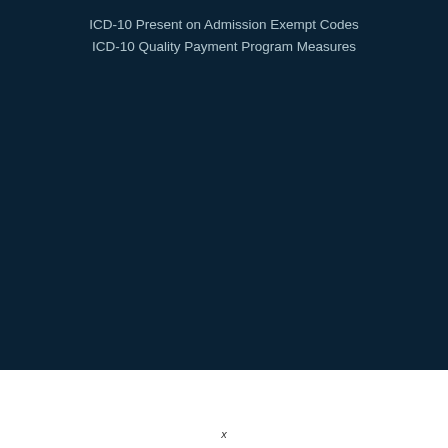ICD-10 Present on Admission Exempt Codes
ICD-10 Quality Payment Program Measures
x